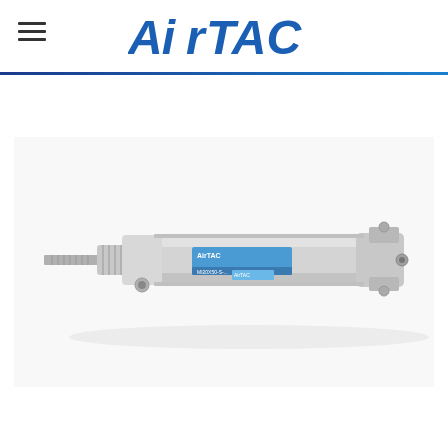AirTAC
[Figure (photo): AirTAC mini pneumatic cylinder - stainless steel body with mounting brackets, threaded piston rod extending from left side, port connections visible, with AirTAC label/branding on the cylinder barrel]